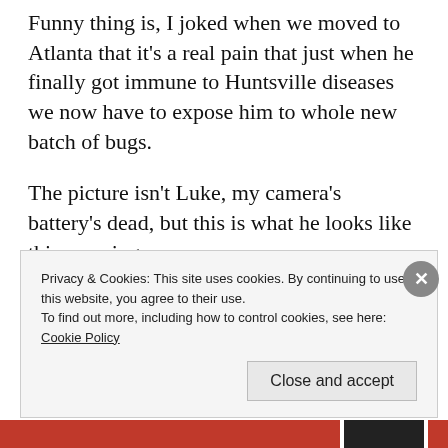Funny thing is, I joked when we moved to Atlanta that it's a real pain that just when he finally got immune to Huntsville diseases we now have to expose him to whole new batch of bugs.
The picture isn't Luke, my camera's battery's dead, but this is what he looks like this morning.
Privacy & Cookies: This site uses cookies. By continuing to use this website, you agree to their use.
To find out more, including how to control cookies, see here: Cookie Policy
Close and accept